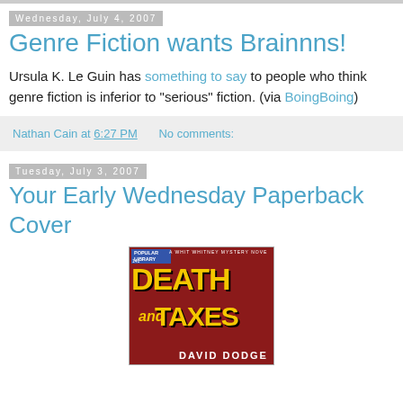Wednesday, July 4, 2007
Genre Fiction wants Brainnns!
Ursula K. Le Guin has something to say to people who think genre fiction is inferior to "serious" fiction. (via BoingBoing)
Nathan Cain at 6:27 PM   No comments:
Tuesday, July 3, 2007
Your Early Wednesday Paperback Cover
[Figure (photo): Book cover of 'Death and Taxes' - A Whit Whitney Mystery Novel by David Dodge, Popular Library edition. Red background with large yellow text.]